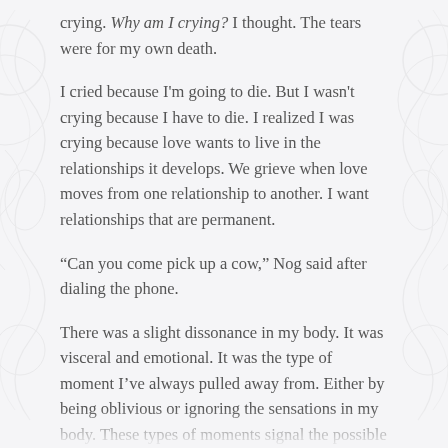crying. Why am I crying? I thought. The tears were for my own death.
I cried because I'm going to die. But I wasn't crying because I have to die. I realized I was crying because love wants to live in the relationships it develops. We grieve when love moves from one relationship to another. I want relationships that are permanent.
“Can you come pick up a cow,” Nog said after dialing the phone.
There was a slight dissonance in my body. It was visceral and emotional. It was the type of moment I’ve always pulled away from. Either by being oblivious or ignoring the sensations in my body. These types of moments signal the possible pain of feeling...